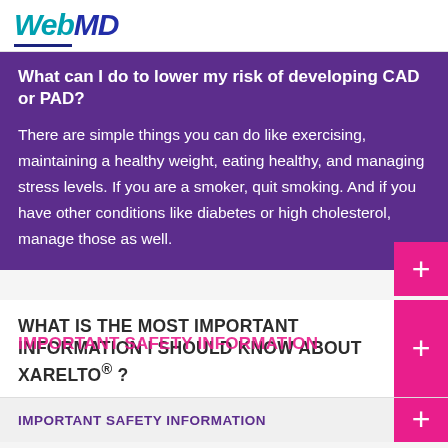WebMD
What can I do to lower my risk of developing CAD or PAD?
There are simple things you can do like exercising, maintaining a healthy weight, eating healthy, and managing stress levels. If you are a smoker, quit smoking. And if you have other conditions like diabetes or high cholesterol, manage those as well.
WHAT IS THE MOST IMPORTANT INFORMATION I SHOULD KNOW ABOUT XARELTO® ?
IMPORTANT SAFETY INFORMATION
IMPORTANT SAFETY INFORMATION